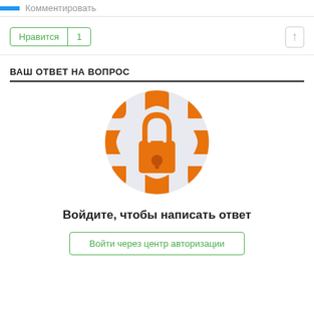Комментировать
Нравится | 1
ВАШ ОТВЕТ НА ВОПРОС
[Figure (illustration): A circular illustration with a light gray background featuring an orange padlock icon in the center, surrounded by repeating orange lock pattern elements around the circle.]
Войдите, чтобы написать ответ
Войти через центр авторизации